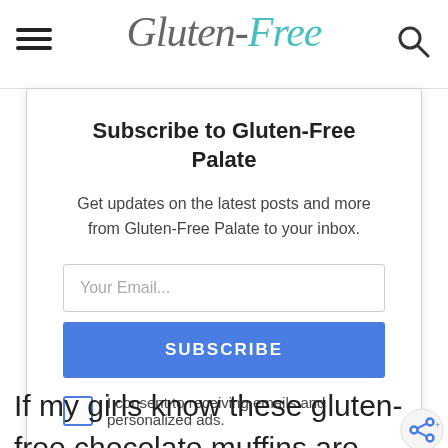Gluten-Free (logo/site title)
Subscribe to Gluten-Free Palate
Get updates on the latest posts and more from Gluten-Free Palate to your inbox.
Your Email...
SUBSCRIBE
I consent to receiving emails and personalized ads.
If my girls know these gluten-free chocolate muffins are actually healthy th may turn their little noses up at them. I'm